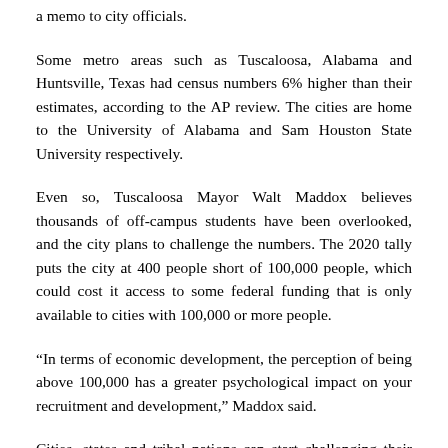a memo to city officials.
Some metro areas such as Tuscaloosa, Alabama and Huntsville, Texas had census numbers 6% higher than their estimates, according to the AP review. The cities are home to the University of Alabama and Sam Houston State University respectively.
Even so, Tuscaloosa Mayor Walt Maddox believes thousands of off-campus students have been overlooked, and the city plans to challenge the numbers. The 2020 tally puts the city at 400 people short of 100,000 people, which could cost it access to some federal funding that is only available to cities with 100,000 or more people.
“In terms of economic development, the perception of being above 100,000 has a greater psychological impact on your recruitment and development,” Maddox said.
Cities, states and tribal nations can start challenging their numbers in January through the bureau’s Count Question Resolution program, but it only considers miscalculations, such as an overlooked housing unit or incorrect boundaries. . The program only revises the numbers used for